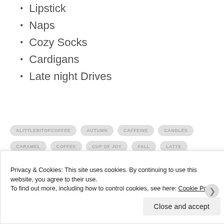Lipstick
Naps
Cozy Socks
Cardigans
Late night Drives
ALITTLEBITOFCOFFEE AUTUMN CAFFEINE CANDLES CARAMEL COFFEE CUP OF JOY FALL LATTE OCTOBER PNW SEASON
Privacy & Cookies: This site uses cookies. By continuing to use this website, you agree to their use. To find out more, including how to control cookies, see here: Cookie Policy